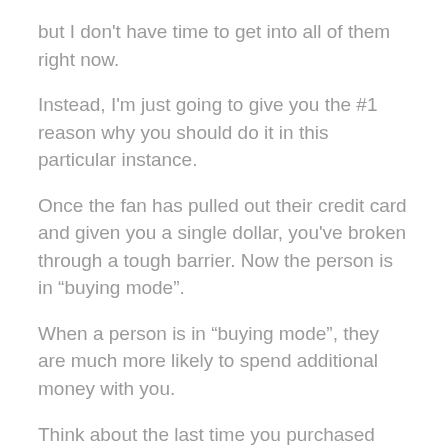but I don't have time to get into all of them right now.
Instead, I'm just going to give you the #1 reason why you should do it in this particular instance.
Once the fan has pulled out their credit card and given you a single dollar, you've broken through a tough barrier. Now the person is in “buying mode”.
When a person is in “buying mode”, they are much more likely to spend additional money with you.
Think about the last time you purchased something on Amazon. Remember when they